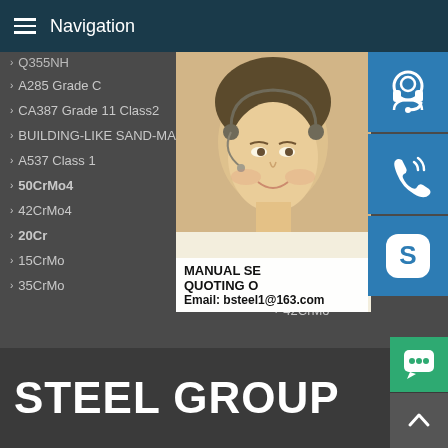Navigation
Q355NH
A285 Grade C
CA387 Grade 11 Class2
BUILDING-LIKE SAND-MAKER
A537 Class 1
50CrMo4
42CrMo4
20Cr
15CrMo
35CrMo
A204
A387
A387
A387
A516
P235G
51CrM
12Cr1
40Cr
30CrMo
42CrMo
[Figure (photo): Woman with headset customer service agent, overlaid with contact icons (headset, phone, Skype) and contact info including MANUAL SE, QUOTING O, Email: bsteel1@163.com]
STEEL GROUP